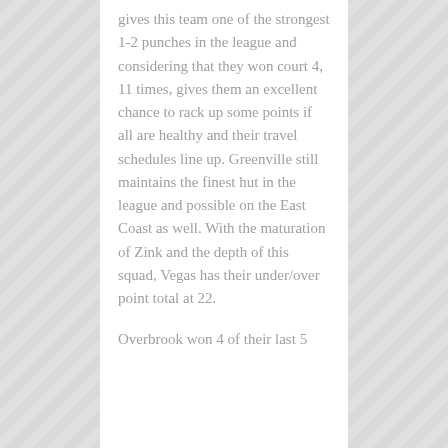gives this team one of the strongest 1-2 punches in the league and considering that they won court 4, 11 times, gives them an excellent chance to rack up some points if all are healthy and their travel schedules line up. Greenville still maintains the finest hut in the league and possible on the East Coast as well. With the maturation of Zink and the depth of this squad, Vegas has their under/over point total at 22.
Overbrook won 4 of their last 5